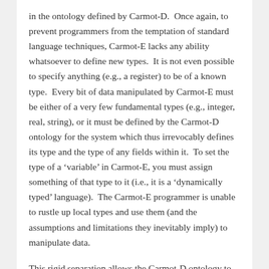in the ontology defined by Carmot-D.  Once again, to prevent programmers from the temptation of standard language techniques, Carmot-E lacks any ability whatsoever to define new types.  It is not even possible to specify anything (e.g., a register) to be of a known type.  Every bit of data manipulated by Carmot-E must be either of a very few fundamental types (e.g., integer, real, string), or it must be defined by the Carmot-D ontology for the system which thus irrevocably defines its type and the type of any fields within it.  To set the type of a 'variable' in Carmot-E, you must assign something of that type to it (i.e., it is a 'dynamically typed' language).  The Carmot-E programmer is unable to rustle up local types and use them (and the assumptions and limitations they inevitably imply) to manipulate data.
This rigid separation allows the Carmot-D ontology to drive all persistent storage, analysis functions, user interface, etc. in an unambiguous way since it is